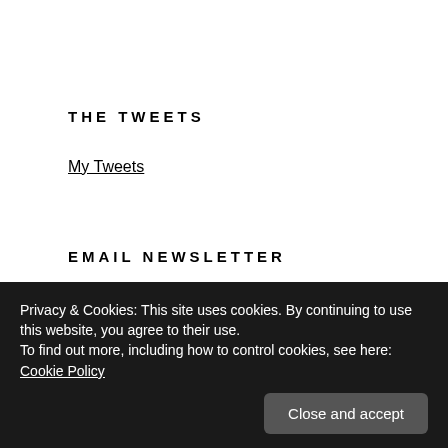THE TWEETS
My Tweets
EMAIL NEWSLETTER
Subscribe to our email newsletter
* indicates required
Privacy & Cookies: This site uses cookies. By continuing to use this website, you agree to their use.
To find out more, including how to control cookies, see here: Cookie Policy
Close and accept